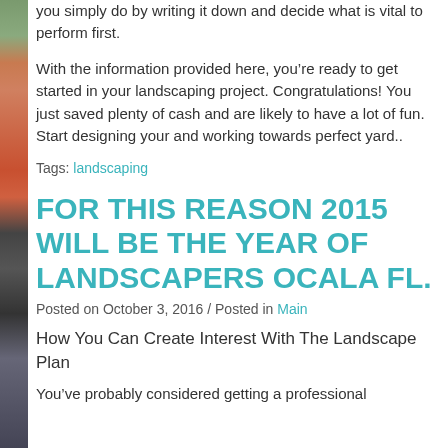you simply do by writing it down and decide what is vital to perform first.
With the information provided here, you’re ready to get started in your landscaping project. Congratulations! You just saved plenty of cash and are likely to have a lot of fun. Start designing your and working towards perfect yard..
Tags: landscaping
FOR THIS REASON 2015 WILL BE THE YEAR OF LANDSCAPERS OCALA FL.
Posted on October 3, 2016 / Posted in Main
How You Can Create Interest With The Landscape Plan
You’ve probably considered getting a professional